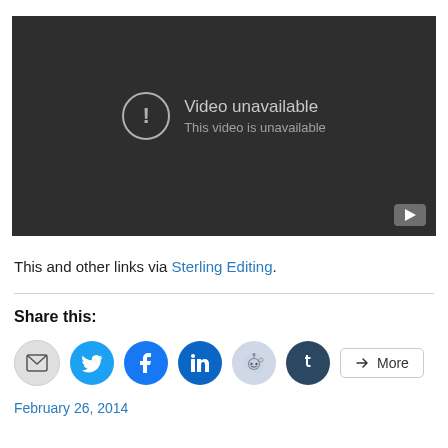[Figure (screenshot): YouTube-style video unavailable embed player with dark background. Shows a circle exclamation icon and text 'Video unavailable / This video is unavailable'. A small YouTube play button is in the bottom-right corner.]
This and other links via Sterling Editing.
Share this:
[Figure (other): Row of social sharing buttons: email (grey), Twitter (blue bird), Facebook (blue), LinkedIn (dark blue), Reddit (light blue), Tumblr (dark), and a More button.]
February 26, 2014